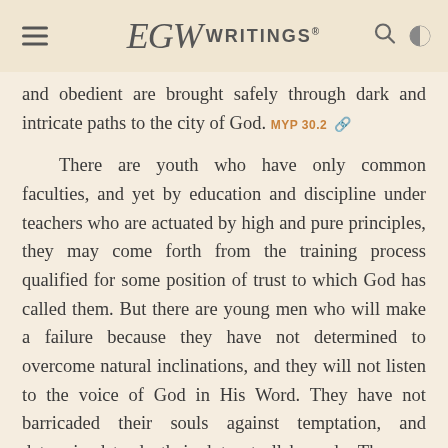EGW WRITINGS
and obedient are brought safely through dark and intricate paths to the city of God. MYP 30.2
There are youth who have only common faculties, and yet by education and discipline under teachers who are actuated by high and pure principles, they may come forth from the training process qualified for some position of trust to which God has called them. But there are young men who will make a failure because they have not determined to overcome natural inclinations, and they will not listen to the voice of God in His Word. They have not barricaded their souls against temptation, and determined to do their duty at all hazards. They are like one who in a perilous journey refuses any guide